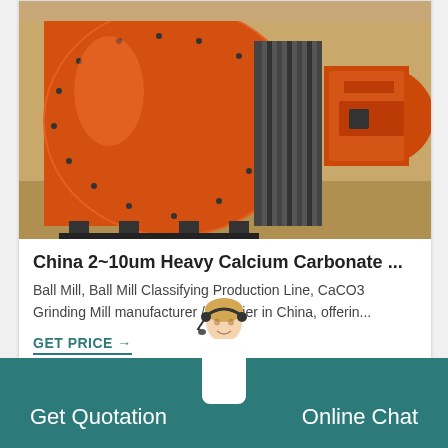[Figure (photo): Large orange industrial ball mill grinding machine with gear ring visible, photographed in a factory/warehouse setting]
China 2~10um Heavy Calcium Carbonate ...
Ball Mill, Ball Mill Classifying Production Line, CaCO3 Grinding Mill manufacturer / supplier in China, offerin...
GET PRICE →
[Figure (photo): Partial view of another industrial machine, partially visible at bottom of page]
Get Quotation
Online Chat